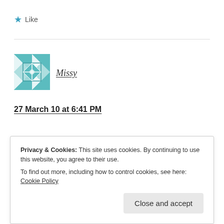★ Like
[Figure (illustration): User avatar: teal/green geometric quilt pattern square icon]
Missy
27 March 10 at 6:41 PM
you look fab in stripes!
Privacy & Cookies: This site uses cookies. By continuing to use this website, you agree to their use.
To find out more, including how to control cookies, see here: Cookie Policy